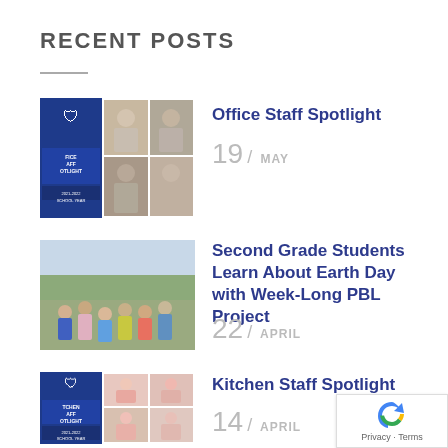RECENT POSTS
[Figure (photo): Thumbnail collage: school crest logo on blue background left side, grid of staff portrait photos on right, labeled 'Office Staff Spotlight 2021-2022 School Year']
Office Staff Spotlight
19 / MAY
[Figure (photo): Group photo of second grade students outdoors on grass in cold weather]
Second Grade Students Learn About Earth Day with Week-Long PBL Project
22 / APRIL
[Figure (photo): Thumbnail collage: school crest logo on blue background left side, grid of kitchen staff photos on right, labeled 'Kitchen Staff Spotlight 2021-2022 School Year']
Kitchen Staff Spotlight
14 / APRIL